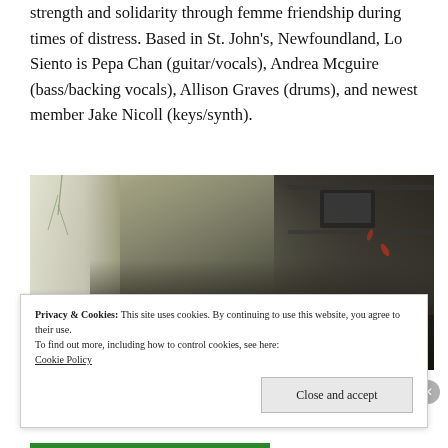strength and solidarity through femme friendship during times of distress. Based in St. John's, Newfoundland, Lo Siento is Pepa Chan (guitar/vocals), Andrea Mcguire (bass/backing vocals), Allison Graves (drums), and newest member Jake Nicoll (keys/synth).
[Figure (photo): Indoor photo of people in a dimly lit room with a bright window on the left showing hanging plants, and shelving/equipment in the upper right background. Two people visible in lower portion of frame.]
Privacy & Cookies: This site uses cookies. By continuing to use this website, you agree to their use.
To find out more, including how to control cookies, see here:
Cookie Policy